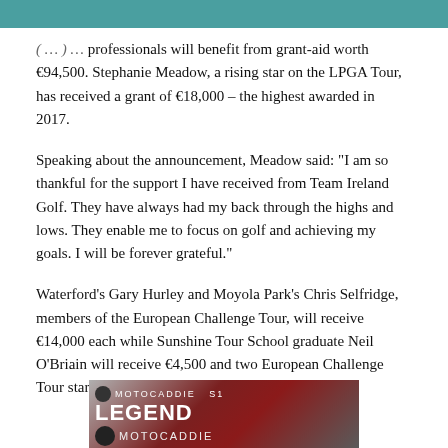( … ) … professionals will benefit from grant-aid worth €94,500. Stephanie Meadow, a rising star on the LPGA Tour, has received a grant of €18,000 – the highest awarded in 2017.
Speaking about the announcement, Meadow said: “I am so thankful for the support I have received from Team Ireland Golf. They have always had my back through the highs and lows. They enable me to focus on golf and achieving my goals. I will be forever grateful.”
Waterford’s Gary Hurley and Moyola Park’s Chris Selfridge, members of the European Challenge Tour, will receive €14,000 each while Sunshine Tour School graduate Neil O’Briain will receive €4,500 and two European Challenge Tour starts.
[Figure (other): Advertisement banner for Motocaddie Legend product, with red and grey imagery and brand logo.]